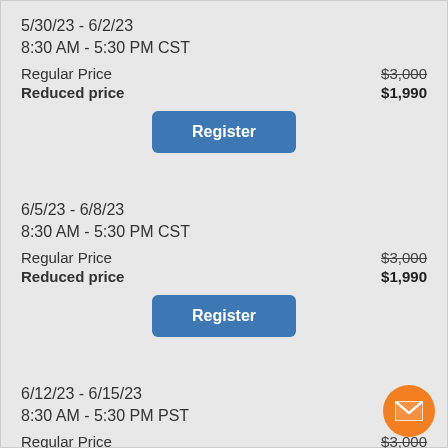5/30/23 - 6/2/23
8:30 AM - 5:30 PM CST
Regular Price   $3,000
Reduced price   $1,990
[Figure (other): Register button (blue)]
6/5/23 - 6/8/23
8:30 AM - 5:30 PM CST
Regular Price   $3,000
Reduced price   $1,990
[Figure (other): Register button (blue)]
6/12/23 - 6/15/23
8:30 AM - 5:30 PM PST
Regular Price   $3,000
Reduced price   $1,990